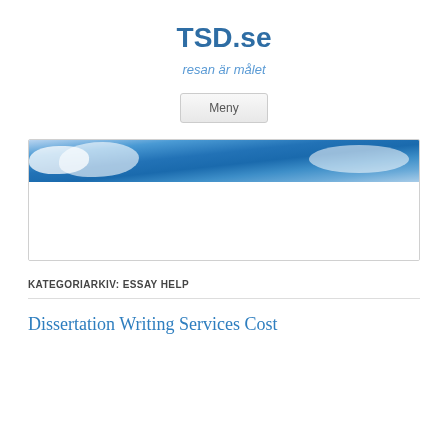TSD.se
resan är målet
Meny
[Figure (photo): Hero banner image showing blue sky with white clouds]
KATEGORIARKIV: ESSAY HELP
Dissertation Writing Services Cost